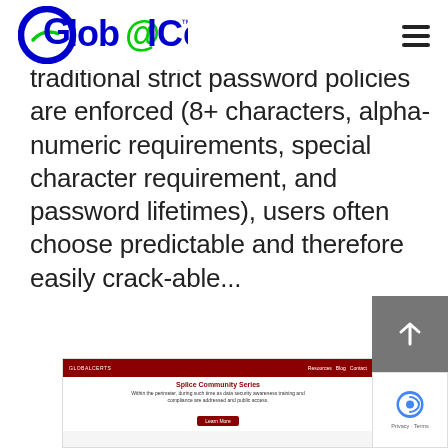GlobalCerts™
traditional strict password policies are enforced (8+ characters, alpha-numeric requirements, special character requirement, and password lifetimes), users often choose predictable and therefore easily crack-able...
READ MORE
[Figure (screenshot): Screenshot of a webpage showing 'Splice Community Series' content with a dark red header and body text]